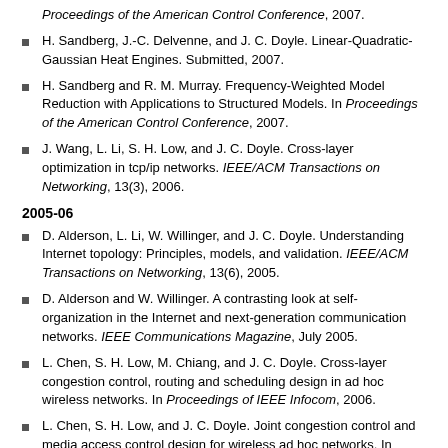Proceedings of the American Control Conference, 2007.
H. Sandberg, J.-C. Delvenne, and J. C. Doyle. Linear-Quadratic-Gaussian Heat Engines. Submitted, 2007.
H. Sandberg and R. M. Murray. Frequency-Weighted Model Reduction with Applications to Structured Models. In Proceedings of the American Control Conference, 2007.
J. Wang, L. Li, S. H. Low, and J. C. Doyle. Cross-layer optimization in tcp/ip networks. IEEE/ACM Transactions on Networking, 13(3), 2006.
2005-06
D. Alderson, L. Li, W. Willinger, and J. C. Doyle. Understanding Internet topology: Principles, models, and validation. IEEE/ACM Transactions on Networking, 13(6), 2005.
D. Alderson and W. Willinger. A contrasting look at self-organization in the Internet and next-generation communication networks. IEEE Communications Magazine, July 2005.
L. Chen, S. H. Low, M. Chiang, and J. C. Doyle. Cross-layer congestion control, routing and scheduling design in ad hoc wireless networks. In Proceedings of IEEE Infocom, 2006.
L. Chen, S. H. Low, and J. C. Doyle. Joint congestion control and media access control design for wireless ad hoc networks. In Proceedings of IEEE Infocom, 2005.
L. Chen, S. H. Low and J. C. Doyle. Random Access Game and